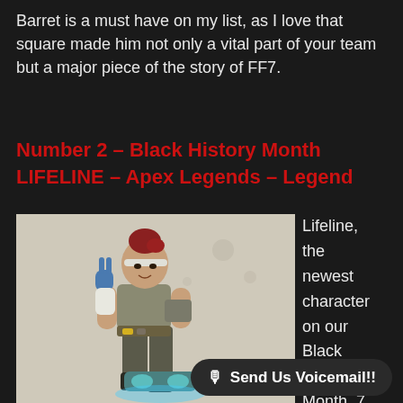Barret is a must have on my list, as I love that square made him not only a vital part of your team but a major piece of the story of FF7.
Number 2 – Black History Month LIFELINE – Apex Legends – Legend
[Figure (illustration): Lifeline character from Apex Legends, a female character in combat gear making a peace sign, with futuristic equipment, on a light beige background]
Lifeline, the newest character on our Black History Month, 7 Top Black...
🎙 Send Us Voicemail!!